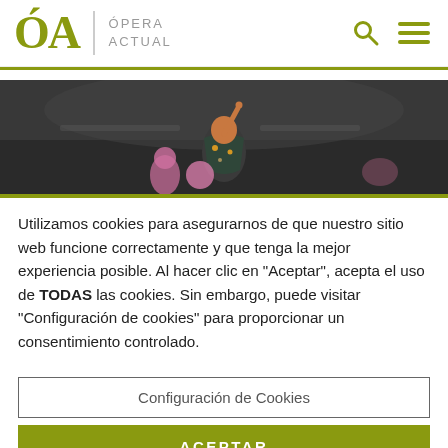ÓA Ópera Actual
[Figure (photo): Opera performance stage photo showing a performer in colorful costume raising a finger, with pink-costumed figures in background, black and white background]
Utilizamos cookies para asegurarnos de que nuestro sitio web funcione correctamente y que tenga la mejor experiencia posible. Al hacer clic en "Aceptar", acepta el uso de TODAS las cookies. Sin embargo, puede visitar "Configuración de cookies" para proporcionar un consentimiento controlado.
Configuración de Cookies
ACEPTAR